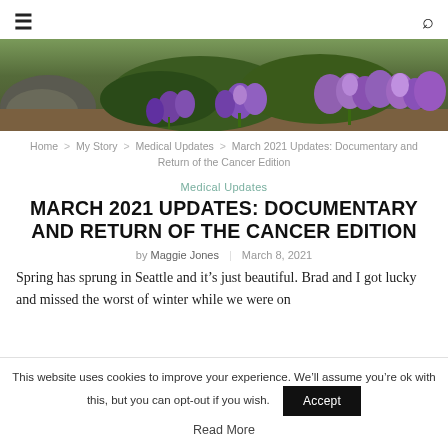≡  🔍
[Figure (photo): Banner photo of purple crocus flowers blooming in a garden with rocks and green foliage in the background]
Home > My Story > Medical Updates > March 2021 Updates: Documentary and Return of the Cancer Edition
Medical Updates
MARCH 2021 UPDATES: DOCUMENTARY AND RETURN OF THE CANCER EDITION
by Maggie Jones | March 8, 2021
Spring has sprung in Seattle and it's just beautiful. Brad and I got lucky and missed the worst of winter while we were on
This website uses cookies to improve your experience. We'll assume you're ok with this, but you can opt-out if you wish.
Read More